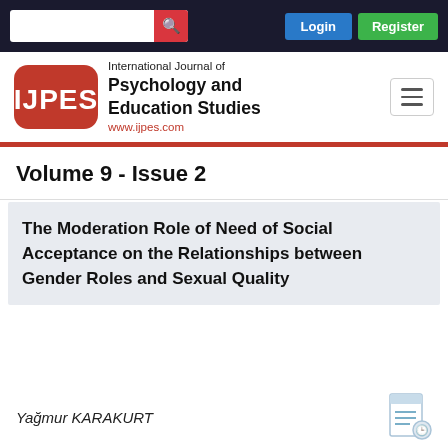Login | Register
[Figure (logo): IJPES logo - International Journal of Psychology and Education Studies, www.ijpes.com]
Volume 9 - Issue 2
The Moderation Role of Need of Social Acceptance on the Relationships between Gender Roles and Sexual Quality
Yağmur KARAKURT